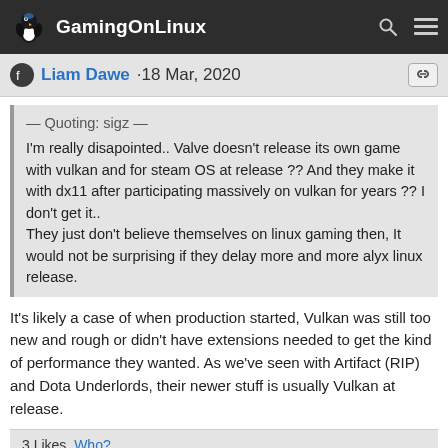GamingOnLinux
Liam Dawe · 18 Mar, 2020
— Quoting: sigz —
I'm really disapointed.. Valve doesn't release its own game with vulkan and for steam OS at release ?? And they make it with dx11 after participating massively on vulkan for years ?? I don't get it..
They just don't believe themselves on linux gaming then, It would not be surprising if they delay more and more alyx linux release.
It's likely a case of when production started, Vulkan was still too new and rough or didn't have extensions needed to get the kind of performance they wanted. As we've seen with Artifact (RIP) and Dota Underlords, their newer stuff is usually Vulkan at release.
3 Likes, Who?